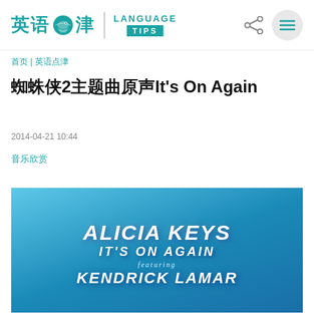英语点津 | LANGUAGE TIPS
首页 | 英语点津
蜘蛛侠2主题曲原声It's On Again
2014-04-21 10:44
音乐欣赏
[Figure (photo): Album cover for Alicia Keys - It's On Again featuring Kendrick Lamar, blue sky background with stylized text]